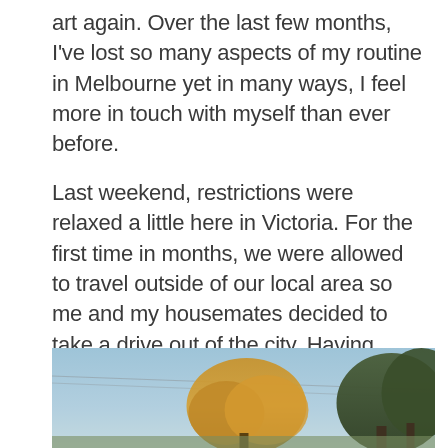art again. Over the last few months, I've lost so many aspects of my routine in Melbourne yet in many ways, I feel more in touch with myself than ever before.
Last weekend, restrictions were relaxed a little here in Victoria. For the first time in months, we were allowed to travel outside of our local area so me and my housemates decided to take a drive out of the city. Having previously worked on the weekend, I hadn't had the chance to do that many road trips throughout my time in Melbourne. Plus, the fact that we finally had the freedom too after months of being told to stay at home, made it even more of a privilege.
[Figure (photo): Outdoor photograph showing a pale blue sky with two power lines crossing diagonally, an orange-leaved autumn tree in the center, and dark green trees on the right side.]